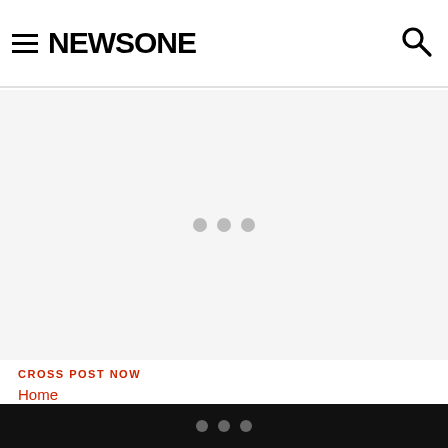NEWSONE
[Figure (other): Advertisement loading area with three grey dots indicating loading state]
CROSS POST NOW
Home
John Boehner Rips Ted Cruz,